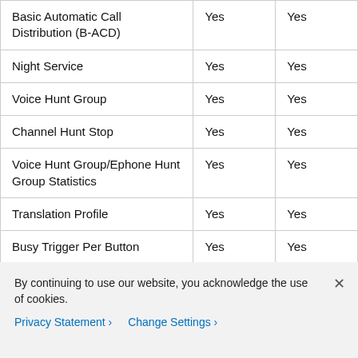| Basic Automatic Call Distribution (B-ACD) | Yes | Yes |
| Night Service | Yes | Yes |
| Voice Hunt Group | Yes | Yes |
| Channel Hunt Stop | Yes | Yes |
| Voice Hunt Group/Ephone Hunt Group Statistics | Yes | Yes |
| Translation Profile | Yes | Yes |
| Busy Trigger Per Button | Yes | Yes |
| Conference Blocking | Yes | Yes |
| Transfer Blocking | Yes | Yes |
By continuing to use our website, you acknowledge the use of cookies.
Privacy Statement > Change Settings >